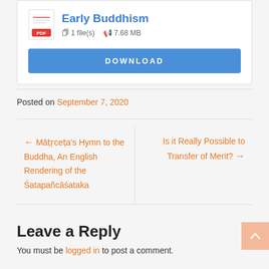[Figure (other): PDF file icon with red PDF badge]
Early Buddhism
1 file(s)   7.68 MB
DOWNLOAD
Posted on September 7, 2020
← Māṭṛceṭa's Hymn to the Buddha, An English Rendering of the Śatapañcāśataka
Is it Really Possible to Transfer of Merit? →
Leave a Reply
You must be logged in to post a comment.